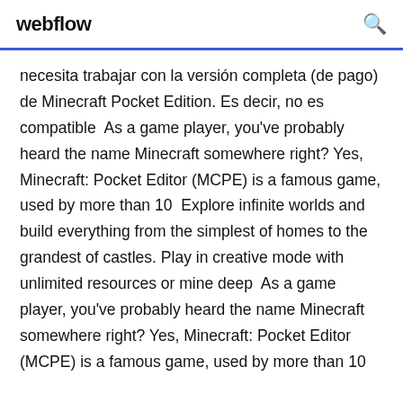webflow
necesita trabajar con la versión completa (de pago) de Minecraft Pocket Edition. Es decir, no es compatible  As a game player, you've probably heard the name Minecraft somewhere right? Yes, Minecraft: Pocket Editor (MCPE) is a famous game, used by more than 10  Explore infinite worlds and build everything from the simplest of homes to the grandest of castles. Play in creative mode with unlimited resources or mine deep  As a game player, you've probably heard the name Minecraft somewhere right? Yes, Minecraft: Pocket Editor (MCPE) is a famous game, used by more than 10